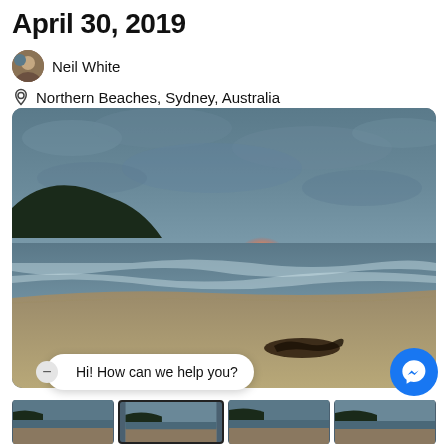April 30, 2019
Neil White
Northern Beaches, Sydney, Australia
[Figure (photo): Beach sunset photo showing cloudy sky, dark headland on left, glowing orange-pink sunset on the horizon, ocean with waves, and sandy beach with dark driftwood in the foreground]
Hi! How can we help you?
[Figure (photo): Row of four beach photo thumbnails at the bottom of the page]